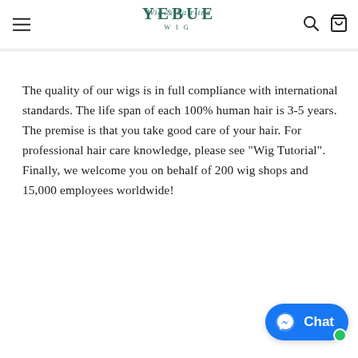YEBUE WIG — navigation header with hamburger menu, logo, search and cart icons
The quality of our wigs is in full compliance with international standards. The life span of each 100% human hair is 3-5 years. The premise is that you take good care of your hair. For professional hair care knowledge, please see "Wig Tutorial". Finally, we welcome you on behalf of 200 wig shops and 15,000 employees worldwide!